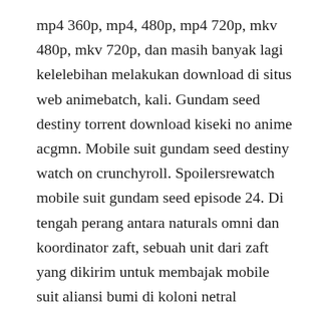mp4 360p, mp4, 480p, mp4 720p, mkv 480p, mkv 720p, dan masih banyak lagi kelelebihan melakukan download di situs web animebatch, kali. Gundam seed destiny torrent download kiseki no anime acgmn. Mobile suit gundam seed destiny watch on crunchyroll. Spoilersrewatch mobile suit gundam seed episode 24. Di tengah perang antara naturals omni dan koordinator zaft, sebuah unit dari zaft yang dikirim untuk membajak mobile suit aliansi bumi di koloni netral heliopolis.
While the second battle of yachin due brought